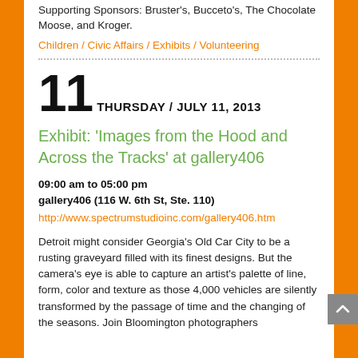Supporting Sponsors: Bruster's, Bucceto's, The Chocolate Moose, and Kroger.
Children / Civic Affairs / Exhibits / Volunteering
11 THURSDAY / JULY 11, 2013
Exhibit: 'Images from the Hood and Across the Tracks' at gallery406
09:00 am to 05:00 pm
gallery406 (116 W. 6th St, Ste. 110)
http://www.spectrumstudioinc.com/gallery406.htm
Detroit might consider Georgia's Old Car City to be a rusting graveyard filled with its finest designs. But the camera's eye is able to capture an artist's palette of line, form, color and texture as those 4,000 vehicles are silently transformed by the passage of time and the changing of the seasons. Join Bloomington photographers